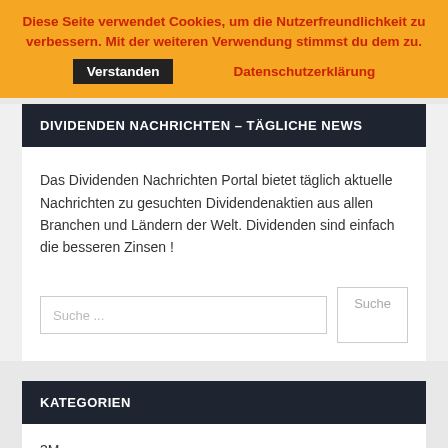Diese Seite verwendet Cookies, um die Nutzerfreundlichkeit zu verbessern. Mit der weiteren Verwendung stimmst du dem zu.
Verstanden   Datenschutzerklärung
DIVIDENDEN NACHRICHTEN – TÄGLICHE NEWS
Das Dividenden Nachrichten Portal bietet täglich aktuelle Nachrichten zu gesuchten Dividendenaktien aus allen Branchen und Ländern der Welt. Dividenden sind einfach die besseren Zinsen !
Suche ...  Suche
KATEGORIEN
3M